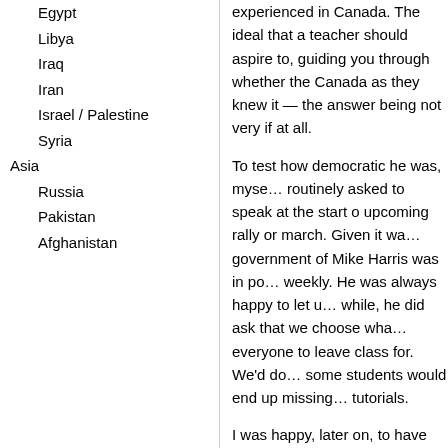Egypt
Libya
Iraq
Iran
Israel / Palestine
Syria
Asia
Russia
Pakistan
Afghanistan
experienced in Canada. The ideal that a teacher should aspire to, guiding you through whether the Canada as they knew it — the answer being not very if at all.
To test how democratic he was, myself … routinely asked to speak at the start of upcoming rally or march. Given it was … government of Mike Harris was in po… weekly. He was always happy to let u… while, he did ask that we choose wha… everyone to leave class for. We'd do… some students would end up missing… tutorials.
I was happy, later on, to have been a… comrades from the Socialist Project … united left in Toronto – Rebuilding the… unsuccessful, it did help re-establish … the left and opened doors for collabo…
There were many disagreements ove… State, the possibilities of left reformis… there were also many more points of … of the working class to socialism and…
Despite disagreements, and no one v… never displayed a sectarianism that c… members of the IS at our events and…